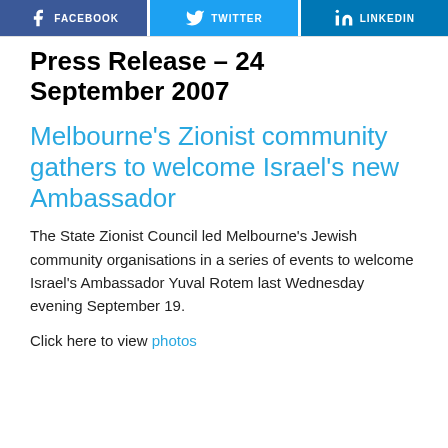FACEBOOK  TWITTER  LINKEDIN
Press Release – 24 September 2007
Melbourne's Zionist community gathers to welcome Israel's new Ambassador
The State Zionist Council led Melbourne's Jewish community organisations in a series of events to welcome Israel's Ambassador Yuval Rotem last Wednesday evening September 19.
Click here to view photos